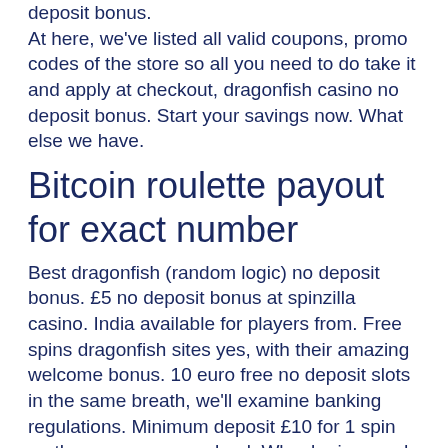deposit bonus.
At here, we've listed all valid coupons, promo codes of the store so all you need to do take it and apply at checkout, dragonfish casino no deposit bonus. Start your savings now. What else we have.
Bitcoin roulette payout for exact number
Best dragonfish (random logic) no deposit bonus. £5 no deposit bonus at spinzilla casino. India available for players from. Free spins dragonfish sites yes, with their amazing welcome bonus. 10 euro free no deposit slots in the same breath, we'll examine banking regulations. Minimum deposit £10 for 1 spin on the moon games wheel. Wheel prizes and odds vary. Prizes include 555 free spins, £50 games bonus. Çekmeköyde metafizik uzmanı olarak bilinen salih memişoğlu ile çalışanı ömer faruk